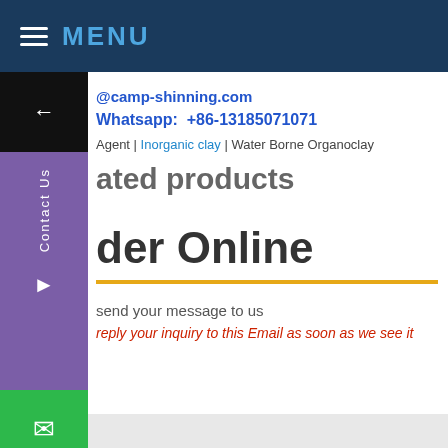MENU
@camp-shinning.com
Whatsapp:  +86-13185071071
Agent | Inorganic clay | Water Borne Organoclay
ated products
der Online
send your message to us
reply your inquiry to this Email as soon as we see it